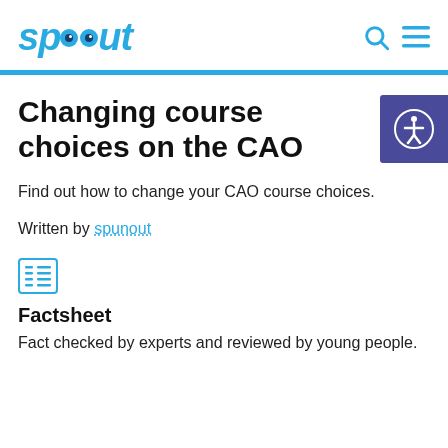spunout
Changing course choices on the CAO
Find out how to change your CAO course choices.
Written by spunout
[Figure (illustration): Factsheet icon - list/document icon in blue]
Factsheet
Fact checked by experts and reviewed by young people.